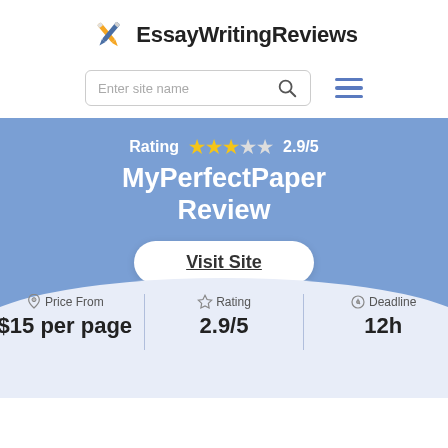[Figure (logo): EssayWritingReviews logo with crossed pencil and pen icon and site name text]
[Figure (screenshot): Search bar with 'Enter site name' placeholder and search icon, plus hamburger menu icon]
Rating  2.9/5
MyPerfectPaper Review
Visit Site
Price From
$15 per page
Rating
2.9/5
Deadline
12h